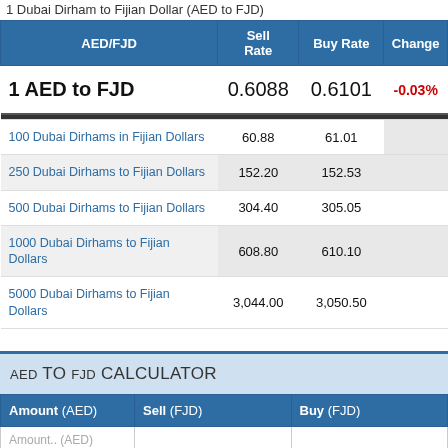1 Dubai Dirham to Fijian Dollar (AED to FJD)
| AED/FJD | Sell Rate | Buy Rate | Change |
| --- | --- | --- | --- |
| 1 AED to FJD | 0.6088 | 0.6101 | -0.03% |
| 100 Dubai Dirhams in Fijian Dollars | 60.88 | 61.01 |  |
| 250 Dubai Dirhams to Fijian Dollars | 152.20 | 152.53 |  |
| 500 Dubai Dirhams to Fijian Dollars | 304.40 | 305.05 |  |
| 1000 Dubai Dirhams to Fijian Dollars | 608.80 | 610.10 |  |
| 5000 Dubai Dirhams to Fijian Dollars | 3,044.00 | 3,050.50 |  |
AED TO FJD CALCULATOR
| Amount (AED) | Sell (FJD) | Buy (FJD) |
| --- | --- | --- |
| Amount.. (AED) |  |  |